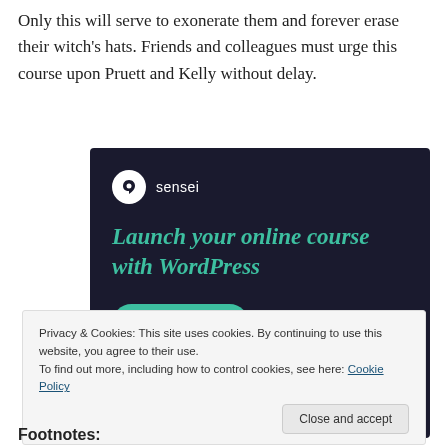Only this will serve to exonerate them and forever erase their witch's hats. Friends and colleagues must urge this course upon Pruett and Kelly without delay.
[Figure (screenshot): Sensei advertisement: dark navy background with Sensei logo (tree icon in white circle), teal headline text 'Launch your online course with WordPress', and a teal 'Learn More' button with rounded corners.]
Privacy & Cookies: This site uses cookies. By continuing to use this website, you agree to their use.
To find out more, including how to control cookies, see here: Cookie Policy
Footnotes: